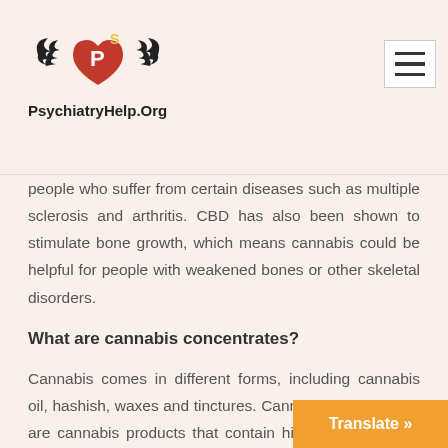[Figure (logo): PsychiatryHelp.Org logo with winged heart and pharmacy symbol]
PsychiatryHelp.Org
people who suffer from certain diseases such as multiple sclerosis and arthritis. CBD has also been shown to stimulate bone growth, which means cannabis could be helpful for people with weakened bones or other skeletal disorders.
What are cannabis concentrates?
Cannabis comes in different forms, including cannabis oil, hashish, waxes and tinctures. Cannabis concentrates are cannabis products that contain high levels of THC. Concentrates may also contain a varying amount of other